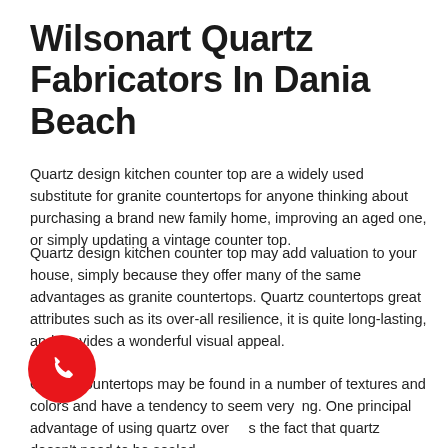Wilsonart Quartz Fabricators In Dania Beach
Quartz design kitchen counter top are a widely used substitute for granite countertops for anyone thinking about purchasing a brand new family home, improving an aged one, or simply updating a vintage counter top.
Quartz design kitchen counter top may add valuation to your house, simply because they offer many of the same advantages as granite countertops. Quartz countertops great attributes such as its over-all resilience, it is quite long-lasting, and provides a wonderful visual appeal.
Quartz countertops may be found in a number of textures and colors and have a tendency to seem very ing. One principal advantage of using quartz over e is the fact that quartz doesn't need to be sealed.